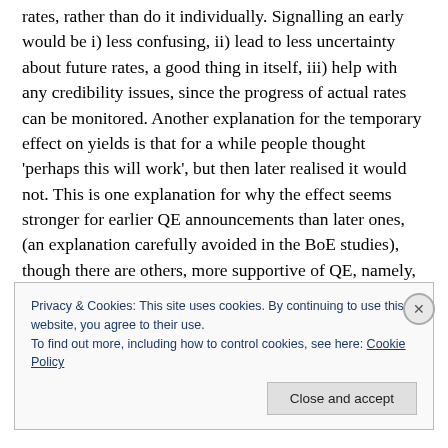rates, rather than do it individually. Signalling an early would be i) less confusing, ii) lead to less uncertainty about future rates, a good thing in itself, iii) help with any credibility issues, since the progress of actual rates can be monitored. Another explanation for the temporary effect on yields is that for a while people thought 'perhaps this will work', but then later realised it would not. This is one explanation for why the effect seems stronger for earlier QE announcements than later ones, (an explanation carefully avoided in the BoE studies), though there are others, more supportive of QE, namely, that the early
Privacy & Cookies: This site uses cookies. By continuing to use this website, you agree to their use.
To find out more, including how to control cookies, see here: Cookie Policy